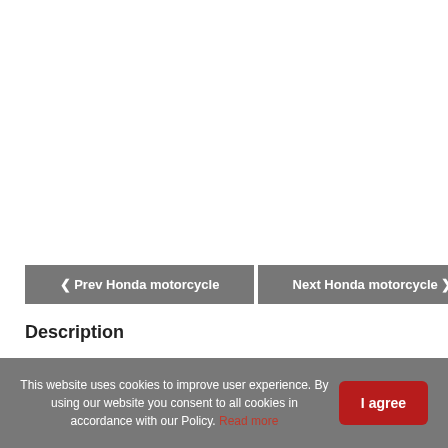[Figure (other): Large white/empty image area at the top of the page (motorcycle image not visible)]
❮ Prev Honda motorcycle  |  Next Honda motorcycle ❯
Description
This website uses cookies to improve user experience. By using our website you consent to all cookies in accordance with our Policy. Read more
I agree